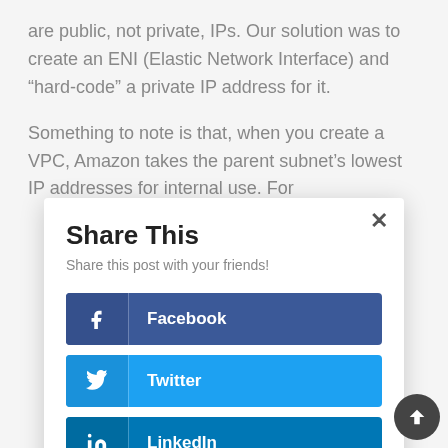are public, not private, IPs. Our solution was to create an ENI (Elastic Network Interface) and “hard-code” a private IP address for it.
Something to note is that, when you create a VPC, Amazon takes the parent subnet’s lowest IP addresses for internal use. For
[Figure (screenshot): Share This modal dialog with Facebook, Twitter, and LinkedIn share buttons, and a close (x) button in the top right corner.]